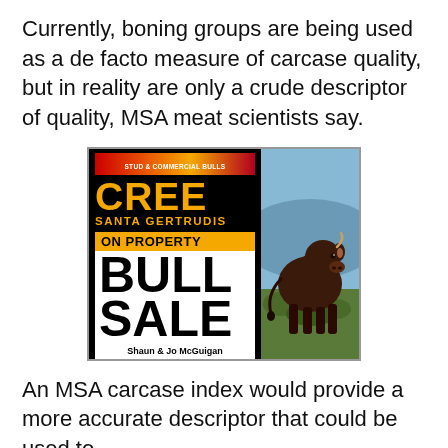Currently, boning groups are being used as a de facto measure of carcase quality, but in reality are only a crude descriptor of quality, MSA meat scientists say.
[Figure (illustration): Advertisement for Cree Santa Gertrudis On Property Bull Sale. Left panel shows black background with orange/yellow 'CREE' text, 'SANTA GERTRUDIS' subtitle, yellow 'ON PROPERTY' banner, large bold 'BULL SALE' text, contact info 'Shaun & Jo McGuigan 0427 678 909' and website 'creesantas.com.au'. Right panel shows a dark brown bull standing in a field with blue sky background.]
An MSA carcase index would provide a more accurate descriptor that could be used to